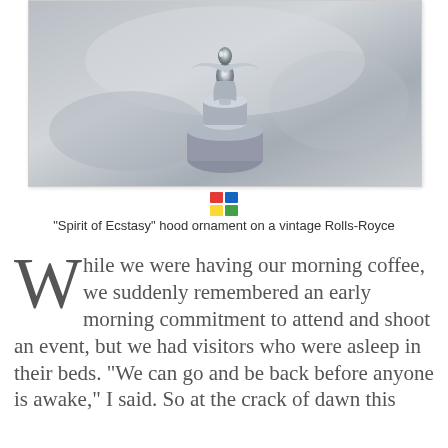[Figure (photo): Close-up photograph of the 'Spirit of Ecstasy' chrome hood ornament on a vintage Rolls-Royce, showing the iconic winged figure on its mounting base against a blurred background.]
"Spirit of Ecstasy" hood ornament on a vintage Rolls-Royce
While we were having our morning coffee, we suddenly remembered an early morning commitment to attend and shoot an event, but we had visitors who were asleep in their beds. "We can go and be back before anyone is awake," I said. So at the crack of dawn this morning, I all but dragged my husband out of